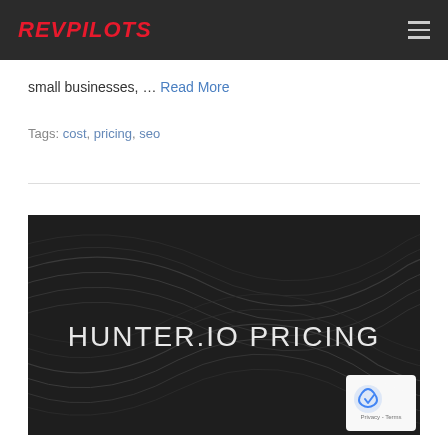REVPILOTS
small businesses, … Read More
Tags: cost, pricing, seo
[Figure (illustration): Dark background image with flowing wave lines and white text reading HUNTER.IO PRICING]